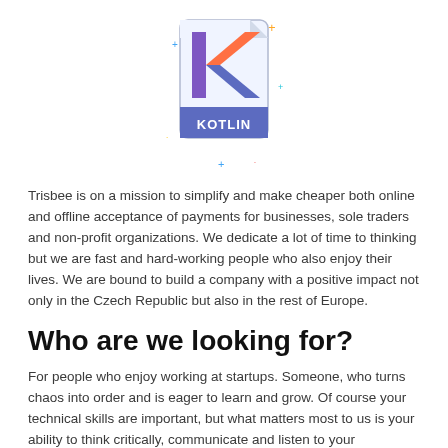[Figure (logo): Kotlin file icon logo with colorful K letter and blue KOTLIN label at bottom, with decorative colored sparkles around it]
Trisbee is on a mission to simplify and make cheaper both online and offline acceptance of payments for businesses, sole traders and non-profit organizations. We dedicate a lot of time to thinking but we are fast and hard-working people who also enjoy their lives. We are bound to build a company with a positive impact not only in the Czech Republic but also in the rest of Europe.
Who are we looking for?
For people who enjoy working at startups. Someone, who turns chaos into order and is eager to learn and grow. Of course your technical skills are important, but what matters most to us is your ability to think critically, communicate and listen to your teammates.